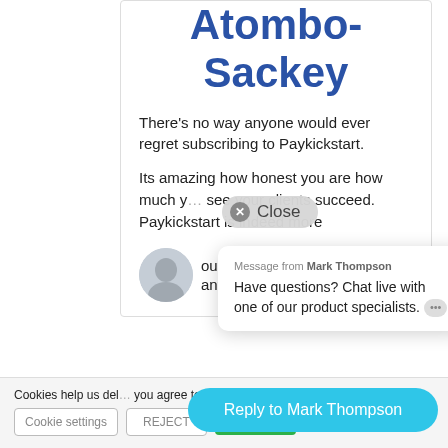Atombo-Sackey
There's no way anyone would ever regret subscribing to Paykickstart.
Its amazing how honest you are how much you see your clients succeed. Paykickstart is indeed more about...
[Figure (screenshot): Close button overlay with X icon and 'Close' text]
[Figure (screenshot): Chat widget showing 'Message from Mark Thompson' and 'Have questions? Chat live with one of our product specialists.' with reply button]
Cookies help us del... you agree to our use of cookies. Read More
Cookie settings
REJECT
ACCEPT